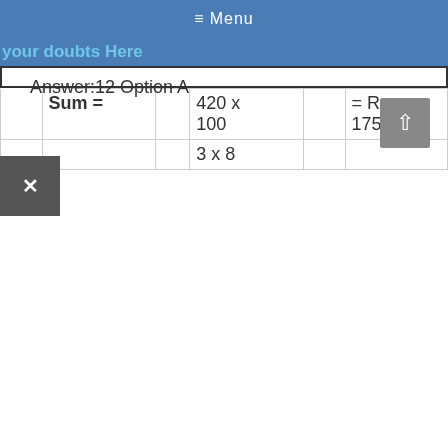≡ Menu
your doubts Here
|  | Sum = |  | 420 x 100 |  | = Rs. 1750. |
|  |  |  | 3 x 8 |  |  |
Answer:12 Option A